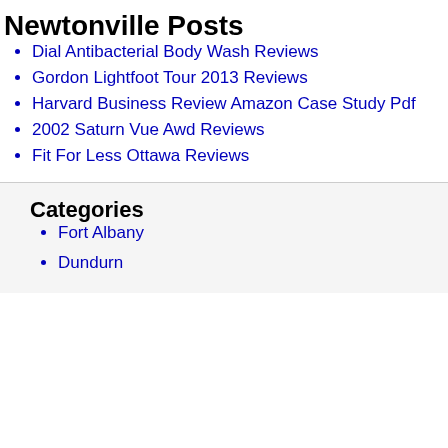Newtonville Posts
Dial Antibacterial Body Wash Reviews
Gordon Lightfoot Tour 2013 Reviews
Harvard Business Review Amazon Case Study Pdf
2002 Saturn Vue Awd Reviews
Fit For Less Ottawa Reviews
Categories
Fort Albany
Dundurn